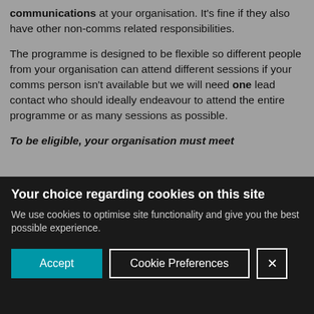communications at your organisation. It's fine if they also have other non-comms related responsibilities.
The programme is designed to be flexible so different people from your organisation can attend different sessions if your comms person isn't available but we will need one lead contact who should ideally endeavour to attend the entire programme or as many sessions as possible.
To be eligible, your organisation must meet
Your choice regarding cookies on this site
We use cookies to optimise site functionality and give you the best possible experience.